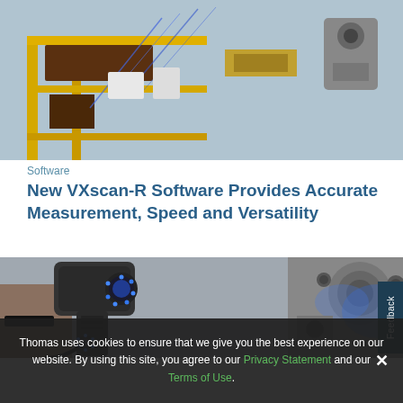[Figure (photo): Industrial workshop photo showing equipment on a yellow rack with blue laser beams and robotic arm components in the background]
Software
New VXscan-R Software Provides Accurate Measurement, Speed and Versatility
[Figure (photo): Person holding a handheld 3D scanner (VXscan-R) scanning a metal mechanical part illuminated with blue light]
Thomas uses cookies to ensure that we give you the best experience on our website. By using this site, you agree to our Privacy Statement and our Terms of Use.